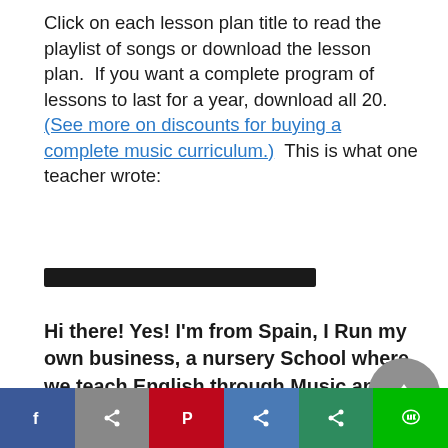Click on each lesson plan title to read the playlist of songs or download the lesson plan.  If you want a complete program of lessons to last for a year, download all 20.  (See more on discounts for buying a complete music curriculum.)  This is what one teacher wrote:
[Figure (other): Black horizontal divider bar]
Hi there! Yes! I'm from Spain, I Run my own business, a nursery School where we teach English through Music and movement. I love your Lessons plans because They are easy to follow and They
[Figure (other): Social media sharing bar at the bottom with Facebook, Twitter/share, Pinterest, LinkedIn, Email/share, and LINE buttons]